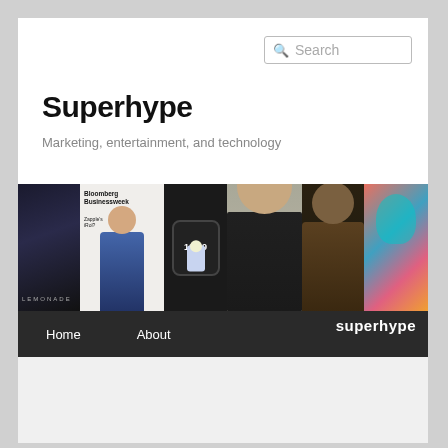Search
Superhype
Marketing, entertainment, and technology
[Figure (photo): Website header collage banner showing Beyoncé Lemonade album, Bloomberg Businessweek magazine cover, Apple Watch with Buzz Lightyear face, Jeff Bezos portrait, Groot character, and colorful illustrated figure. Superhype logo in bottom right.]
Home   About
TAG ARCHIVES: SONGS OF INNOCENCE